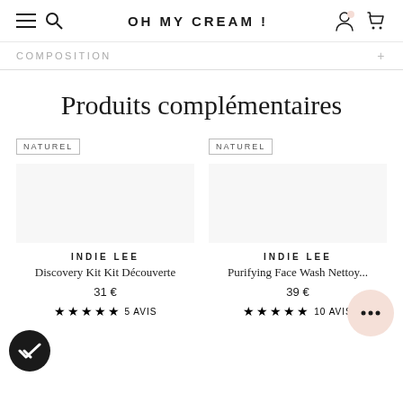OH MY CREAM !
COMPOSITION
Produits complémentaires
NATUREL | INDIE LEE | Discovery Kit Kit Découverte | 31 € | ★★★★★ 5 AVIS
NATUREL | INDIE LEE | Purifying Face Wash Nettoy... | 39 € | ★★★★★ 10 AVIS